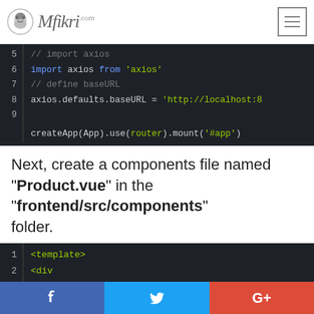Mfikri .com
[Figure (screenshot): Code editor screenshot showing lines 5-9: // import axios, import axios from 'axios', // define baseURL, axios.defaults.baseURL = 'http://localhost:8...', createApp(App).use(router).mount('#app')]
Next, create a components file named "Product.vue" in the "frontend/src/components" folder.
Then type the following code:
[Figure (screenshot): Code editor screenshot showing lines 1-2: <template>, <div...]
Facebook | Twitter | Google+